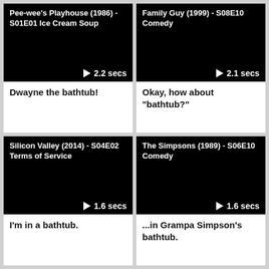[Figure (screenshot): Video thumbnail for Pee-wee's Playhouse (1986) - S01E01 Ice Cream Soup, duration 2.2 secs]
Dwayne the bathtub!
[Figure (screenshot): Video thumbnail for Family Guy (1999) - S08E10 Comedy, duration 2.1 secs]
Okay, how about "bathtub?"
[Figure (screenshot): Video thumbnail for Silicon Valley (2014) - S04E02 Terms of Service, duration 1.6 secs]
I'm in a bathtub.
[Figure (screenshot): Video thumbnail for The Simpsons (1989) - S06E10 Comedy, duration 1.6 secs]
...in Grampa Simpson's bathtub.